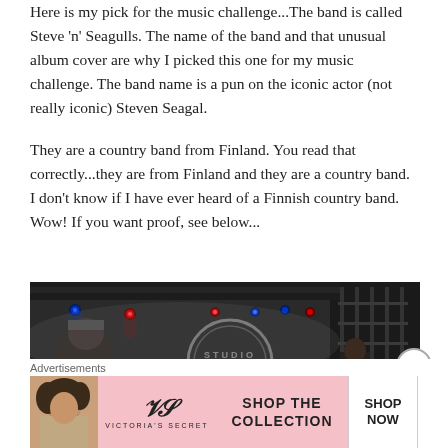Here is my pick for the music challenge...The band is called Steve 'n' Seagulls.  The name of the band and that unusual album cover are why I picked this one for my music challenge.  The band name is a pun on the iconic actor (not really iconic) Steven Seagal.

They are a country band from Finland.  You read that correctly...they are from Finland and they are a country band.  I don't know if I have ever heard of a Finnish country band. Wow! If you want proof, see below...
[Figure (photo): Concert photo showing a performer on stage with stage lighting equipment visible overhead including colored lights (blue, red). A circular logo is partially visible in the background. The venue appears to be a large outdoor or indoor concert setting with dark scaffolding.]
Advertisements
[Figure (photo): Victoria's Secret advertisement banner with pink background. Shows a woman with curly hair on the left, the VS logo in the center, text 'SHOP THE COLLECTION', and a 'SHOP NOW' button on the right.]